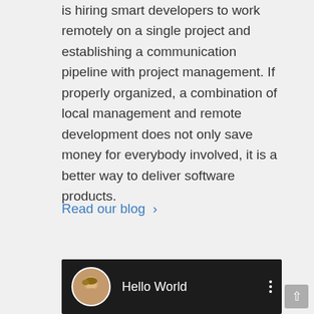is hiring smart developers to work remotely on a single project and establishing a communication pipeline with project management. If properly organized, a combination of local management and remote development does not only save money for everybody involved, it is a better way to deliver software products.
Read our blog >
[Figure (screenshot): A video thumbnail or chat interface showing a woman's avatar photo in a circle, with the text 'Hello World' and a three-dot menu icon, on a dark background.]